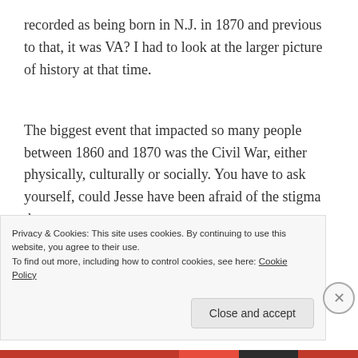recorded as being born in N.J. in 1870 and previous to that, it was VA?  I had to look at the larger picture of history at that time.
The biggest event that impacted so many people between 1860 and 1870 was the Civil War, either physically, culturally or socially.  You have to ask yourself, could Jesse have been afraid of the stigma that
Privacy & Cookies: This site uses cookies. By continuing to use this website, you agree to their use.
To find out more, including how to control cookies, see here: Cookie Policy